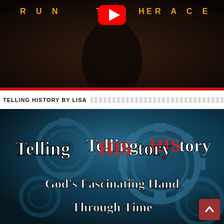[Figure (screenshot): YouTube video thumbnail showing a runner in dark clothing with text 'RUN THE RACE' in gold/orange letters and a YouTube play button in the center, dark moody background]
TELLING HISTORY BY LISA
[Figure (screenshot): Book/channel thumbnail with blue metallic gears background, white text 'Telling HIStory' where HIS is in red, and subtitle 'God's Fascinating Hand Through Time' in white]